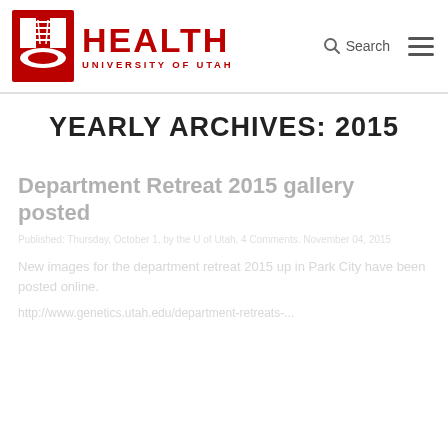[Figure (logo): University of Utah Health logo with block U and DNA helix, with HEALTH and UNIVERSITY OF UTAH text in red]
YEARLY ARCHIVES: 2015
Department Retreat 2015 gallery posted
Published: Thursday, October 1, by the U of Utah, 4 Comments. November 04, 2015
New images for the department retreat 2015 up in Park City have been posted online.
http://www.genetics.utah.edu/department-retreat-...